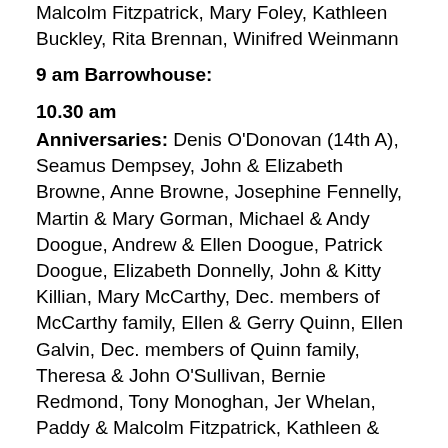Malcolm Fitzpatrick, Mary Foley, Kathleen Buckley, Rita Brennan, Winifred Weinmann
9 am Barrowhouse:
10.30 am
Anniversaries: Denis O'Donovan (14th A), Seamus Dempsey, John & Elizabeth Browne, Anne Browne, Josephine Fennelly, Martin & Mary Gorman, Michael & Andy Doogue, Andrew & Ellen Doogue, Patrick Doogue, Elizabeth Donnelly, John & Kitty Killian, Mary McCarthy, Dec. members of McCarthy family, Ellen & Gerry Quinn, Ellen Galvin, Dec. members of Quinn family, Theresa & John O'Sullivan, Bernie Redmond, Tony Monoghan, Jer Whelan, Paddy & Malcolm Fitzpatrick, Kathleen & Kitty Harte, Mary Leahy, Mary Morrin, Winifred Weinmann, Mary Walsh, Bessy Casey, Tommy Donoher,